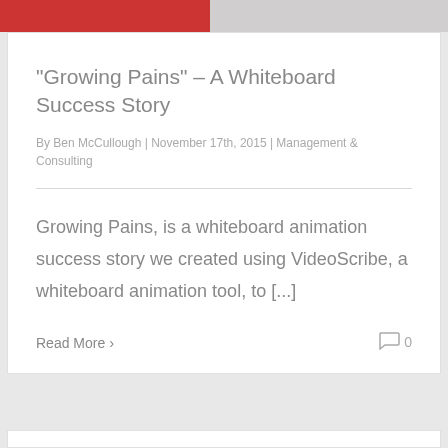[Figure (photo): Top banner image with red section on left and gray/skin-tone section on right]
“Growing Pains” – A Whiteboard Success Story
By Ben McCullough | November 17th, 2015 | Management & Consulting
Growing Pains, is a whiteboard animation success story we created using VideoScribe, a whiteboard animation tool, to [...]
Read More >
0